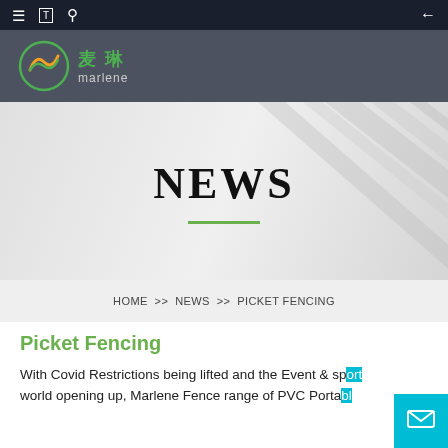≡  [translate icon]  [search icon]  ←
[Figure (logo): Marlene (麦琳) company logo with green circular icon and Chinese/English text on dark grey background]
NEWS
HOME >> NEWS >> PICKET FENCING
Picket Fencing
With Covid Restrictions being lifted and the Event & sport world opening up, Marlene Fence range of PVC Porta…